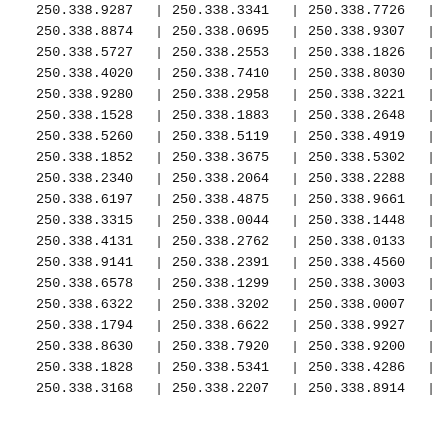| 250.338.9287 | | | 250.338.3341 | | | 250.338.7726 | | |
| 250.338.8874 | | | 250.338.0695 | | | 250.338.9307 | | |
| 250.338.5727 | | | 250.338.2553 | | | 250.338.1826 | | |
| 250.338.4020 | | | 250.338.7410 | | | 250.338.8030 | | |
| 250.338.9280 | | | 250.338.2958 | | | 250.338.3221 | | |
| 250.338.1528 | | | 250.338.1883 | | | 250.338.2648 | | |
| 250.338.5260 | | | 250.338.5119 | | | 250.338.4919 | | |
| 250.338.1852 | | | 250.338.3675 | | | 250.338.5302 | | |
| 250.338.2340 | | | 250.338.2064 | | | 250.338.2288 | | |
| 250.338.6197 | | | 250.338.4875 | | | 250.338.9661 | | |
| 250.338.3315 | | | 250.338.0044 | | | 250.338.1448 | | |
| 250.338.4131 | | | 250.338.2762 | | | 250.338.0133 | | |
| 250.338.9141 | | | 250.338.2391 | | | 250.338.4560 | | |
| 250.338.6578 | | | 250.338.1299 | | | 250.338.3003 | | |
| 250.338.6322 | | | 250.338.3202 | | | 250.338.0007 | | |
| 250.338.1794 | | | 250.338.6622 | | | 250.338.9927 | | |
| 250.338.8630 | | | 250.338.7920 | | | 250.338.9200 | | |
| 250.338.1828 | | | 250.338.5341 | | | 250.338.4286 | | |
| 250.338.3168 | | | 250.338.2207 | | | 250.338.8914 | | |